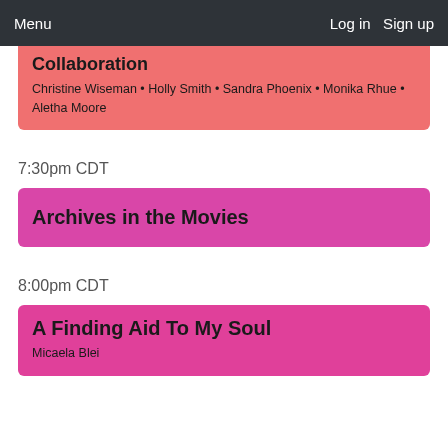Menu   Log in   Sign up
Collaboration
Christine Wiseman • Holly Smith • Sandra Phoenix • Monika Rhue • Aletha Moore
7:30pm CDT
Archives in the Movies
8:00pm CDT
A Finding Aid To My Soul
Micaela Blei